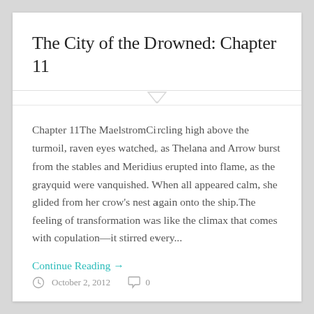The City of the Drowned: Chapter 11
Chapter 11The MaelstromCircling high above the turmoil, raven eyes watched, as Thelana and Arrow burst from the stables and Meridius erupted into flame, as the grayquid were vanquished. When all appeared calm, she glided from her crow's nest again onto the ship.The feeling of transformation was like the climax that comes with copulation—it stirred every...
Continue Reading →
October 2, 2012   0